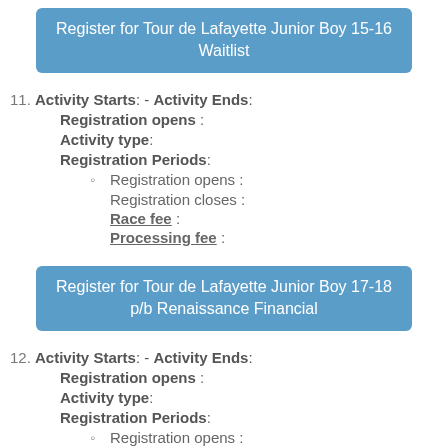Register for Tour de Lafayette Junior Boy 15-16 Waitlist
11. Activity Starts: - Activity Ends:
    Registration opens :
    Activity type:
    Registration Periods:
      • Registration opens :
        Registration closes :
        Race fee :
        Processing fee :
Register for Tour de Lafayette Junior Boy 17-18 p/b Renaissance Financial
12. Activity Starts: - Activity Ends:
    Registration opens :
    Activity type:
    Registration Periods:
      • Registration opens :